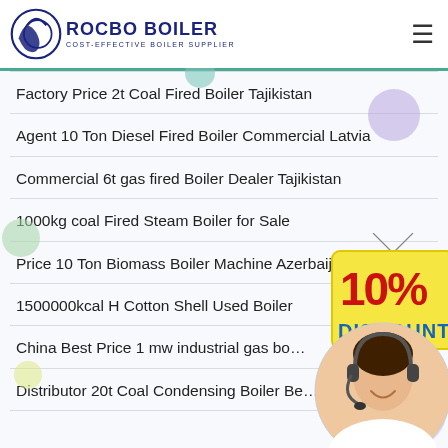ROCBO BOILER - COST-EFFECTIVE BOILER SUPPLIER
Factory Price 2t Coal Fired Boiler Tajikistan
Agent 10 Ton Diesel Fired Boiler Commercial Latvia
Commercial 6t gas fired Boiler Dealer Tajikistan
1000kg coal Fired Steam Boiler for Sale
Price 10 Ton Biomass Boiler Machine Azerbaijan
1500000kcal H Cotton Shell Used Boiler
China Best Price 1 mw industrial gas bo…
Distributor 20t Coal Condensing Boiler Be…
[Figure (infographic): 10% DISCOUNT badge - red and yellow hanging tag style]
[Figure (photo): Customer service representative woman with headset, circular crop]